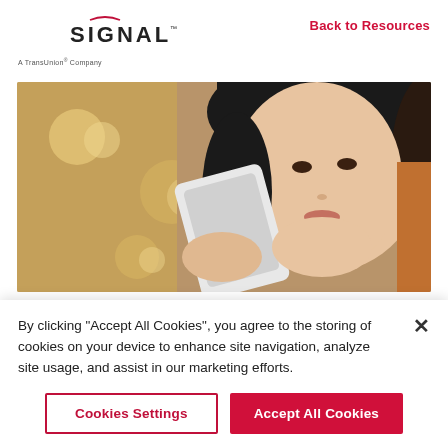[Figure (logo): Signal — A TransUnion Company logo with arc above the 'A' in Signal]
Back to Resources
[Figure (photo): Young woman holding a white smartphone, looking up thoughtfully, with bokeh lights in the background]
By clicking “Accept All Cookies”, you agree to the storing of cookies on your device to enhance site navigation, analyze site usage, and assist in our marketing efforts.
Cookies Settings
Accept All Cookies